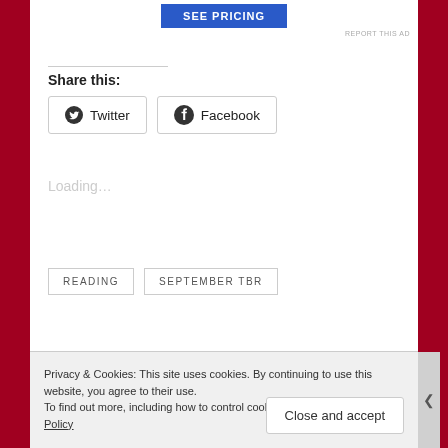[Figure (other): SEE PRICING blue button at top center]
REPORT THIS AD
Share this:
Twitter
Facebook
Loading...
READING
SEPTEMBER TBR
Privacy & Cookies: This site uses cookies. By continuing to use this website, you agree to their use.
To find out more, including how to control cookies, see here: Cookie Policy
Close and accept